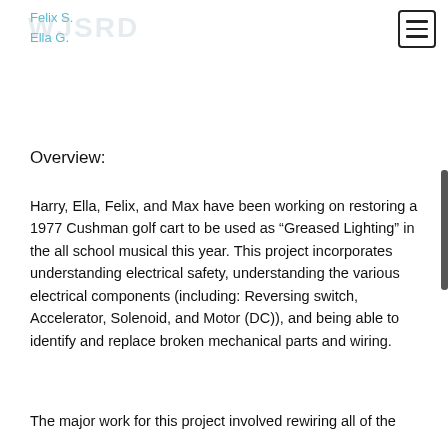Felix S.
Ella G.
Overview:
Harry, Ella, Felix, and Max have been working on restoring a 1977 Cushman golf cart to be used as “Greased Lighting” in the all school musical this year. This project incorporates understanding electrical safety, understanding the various electrical components (including: Reversing switch, Accelerator, Solenoid, and Motor (DC)), and being able to identify and replace broken mechanical parts and wiring.
The major work for this project involved rewiring all of the